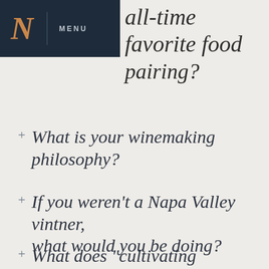[Figure (logo): Dark navy navigation bar with an italic N logo in copper/orange color, a vertical divider, and MENU text in light gray with letter-spacing]
all-time favorite food pairing?
+ What is your winemaking philosophy?
+ If you weren't a Napa Valley vintner, what would you be doing?
+ What does "cultivating excellence" as